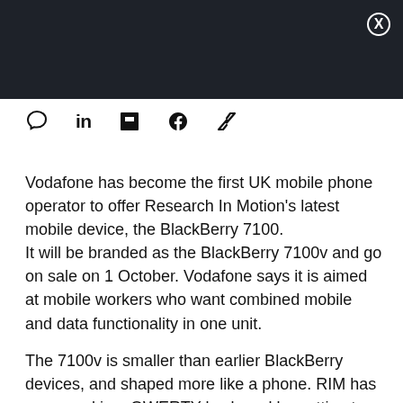[Figure (other): Dark header banner area with close button (X)]
[Figure (other): Social sharing icons bar: comment bubble, LinkedIn, Flipboard, Facebook, Twitter]
Vodafone has become the first UK mobile phone operator to offer Research In Motion's latest mobile device, the BlackBerry 7100. It will be branded as the BlackBerry 7100v and go on sale on 1 October. Vodafone says it is aimed at mobile workers who want combined mobile and data functionality in one unit.
The 7100v is smaller than earlier BlackBerry devices, and shaped more like a phone. RIM has squeezed in a QWERTY keyboard by putting two letters on each key, and has provided a predictive